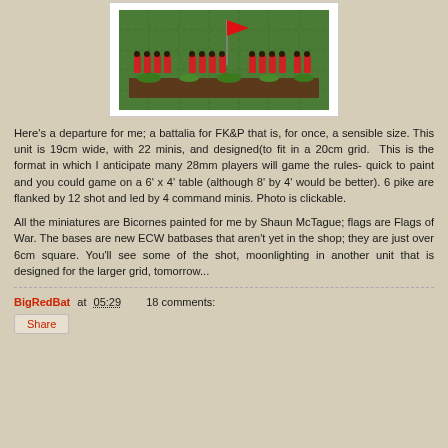[Figure (photo): Photo of painted miniature soldiers (ECW battalia) in red coats arranged on a green gaming mat with a red flag, for FK&P wargame rules.]
Here's a departure for me; a battalia for FK&P that is, for once, a sensible size. This unit is 19cm wide, with 22 minis, and designed(to fit in a 20cm grid.  This is the format in which I anticipate many 28mm players will game the rules- quick to paint and you could game on a 6' x 4' table (although 8' by 4' would be better). 6 pike are flanked by 12 shot and led by 4 command minis. Photo is clickable.
All the miniatures are Bicornes painted for me by Shaun McTague; flags are Flags of War. The bases are new ECW batbases that aren't yet in the shop; they are just over 6cm square. You'll see some of the shot, moonlighting in another unit that is designed for the larger grid, tomorrow...
BigRedBat at 05:29    18 comments:
Share